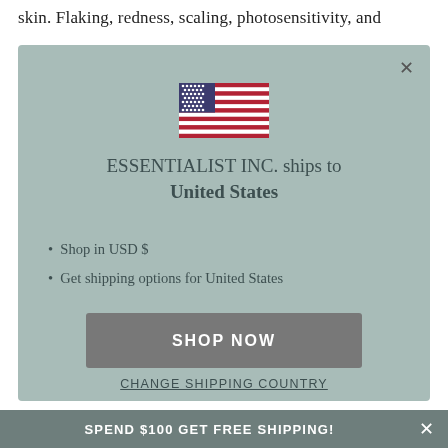skin.  Flaking, redness, scaling, photosensitivity, and
[Figure (illustration): US flag SVG illustration inside a modal dialog box with sage/muted teal background]
ESSENTIALIST INC. ships to United States
Shop in USD $
Get shipping options for United States
SHOP NOW
CHANGE SHIPPING COUNTRY
SPEND $100 GET FREE SHIPPING!